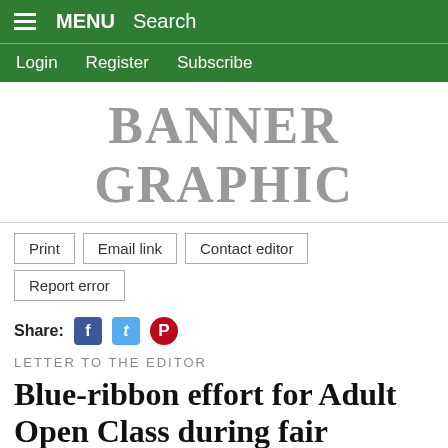MENU  Search
Login  Register  Subscribe
BANNER GRAPHIC
Print  Email link  Contact editor  Report error
Share:
LETTER TO THE EDITOR
Blue-ribbon effort for Adult Open Class during fair
Friday, August 5, 2011
To the Editor:
Once again we had a great time at our Putnam County Fair. As